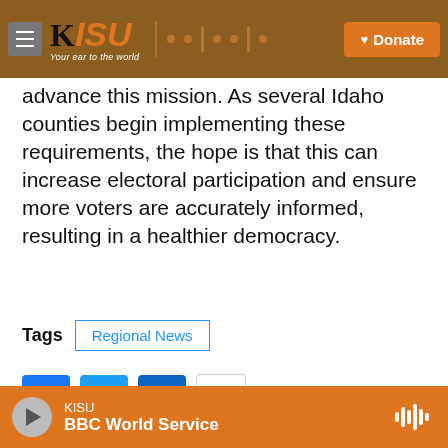KISU — Your ear to the world | Donate
advance this mission. As several Idaho counties begin implementing these requirements, the hope is that this can increase electoral participation and ensure more voters are accurately informed, resulting in a healthier democracy.
Tags  Regional News
[Figure (screenshot): Social share buttons: Facebook, Twitter, LinkedIn, Email]
[Figure (logo): Idaho Capital Sun logo with stylized 'it' lettering and bold text]
KISU  BBC World Service